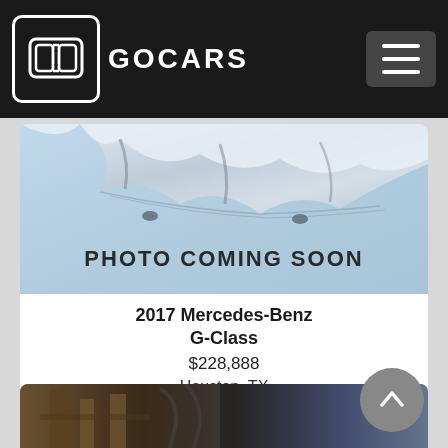GOCARS
[Figure (photo): Photo Coming Soon placeholder image with silver draped cloth on blue background]
2017 Mercedes-Benz G-Class
$228,888
Houston, TX
United States
[Figure (photo): Partial photo of a car listing, partially visible at bottom of page]